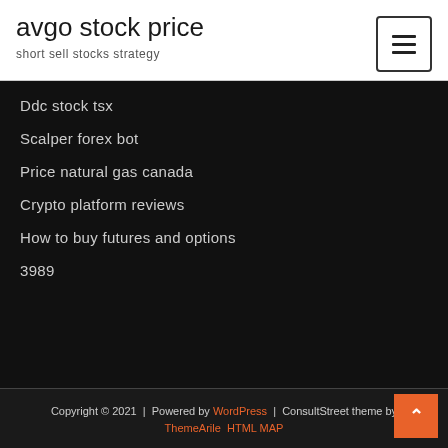avgo stock price
short sell stocks strategy
Ddc stock tsx
Scalper forex bot
Price natural gas canada
Crypto platform reviews
How to buy futures and options
3989
Copyright © 2021 | Powered by WordPress | ConsultStreet theme by ThemeArile HTML MAP